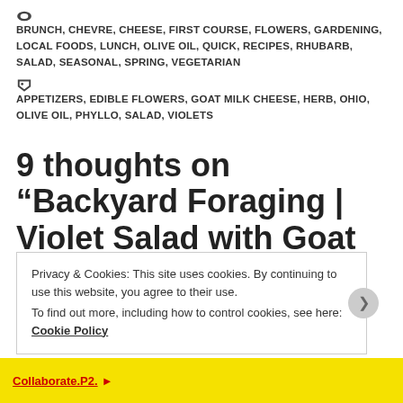BRUNCH, CHEVRE, CHEESE, FIRST COURSE, FLOWERS, GARDENING, LOCAL FOODS, LUNCH, OLIVE OIL, QUICK, RECIPES, RHUBARB, SALAD, SEASONAL, SPRING, VEGETARIAN
APPETIZERS, EDIBLE FLOWERS, GOAT MILK CHEESE, HERB, OHIO, OLIVE OIL, PHYLLO, SALAD, VIOLETS
9 thoughts on “Backyard Foraging | Violet Salad with Goat
Privacy & Cookies: This site uses cookies. By continuing to use this website, you agree to their use. To find out more, including how to control cookies, see here: Cookie Policy
Close and accept